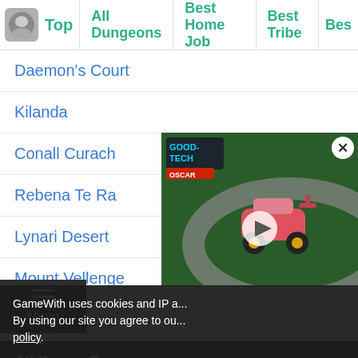Top | All Dungeons | Best Home Job | Best Tribe | Bes...
Daemon's Court
Kilanda
Conall Curach
Rebena Te Ra
Lynari Desert
Mount Vellenge
...t Of Memories
All Bonus Dungeons
All Bonus Dungeons List
[Figure (screenshot): Video player overlay showing a toy racing car on a track with a play button, branded 'GOOD-TECH OSCAR'. A close button (X) appears in the top right.]
GameWith uses cookies and IP a...
By using our site you agree to ou...
policy.